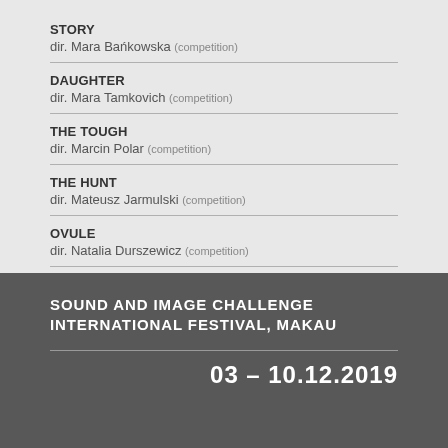STORY
dir. Jola Bańkowska (competition)
DAUGHTER
dir. Mara Tamkovich (competition)
THE TOUGH
dir. Marcin Polar (competition)
THE HUNT
dir. Mateusz Jarmulski (competition)
OVULE
dir. Natalia Durszewicz (competition)
SOUND AND IMAGE CHALLENGE INTERNATIONAL FESTIVAL, MAKAU
03 – 10.12.2019